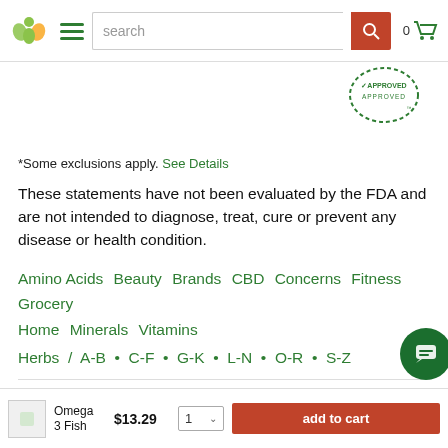search 0
[Figure (logo): Swanson Health approved badge (circular stamp) in top right of content area]
*Some exclusions apply. See Details
These statements have not been evaluated by the FDA and are not intended to diagnose, treat, cure or prevent any disease or health condition.
Amino Acids  Beauty  Brands  CBD  Concerns  Fitness  Grocery  Home  Minerals  Vitamins
Herbs / A-B • C-F • G-K • L-N • O-R • S-Z
© 2022 Swanson -Terms of Service -Privacy Policy -Sitemap
Omega 3 Fish  $13.29  1  add to cart